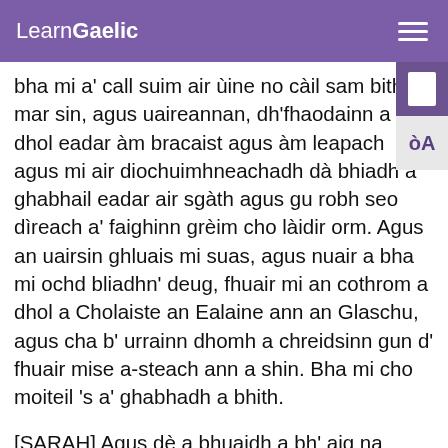LearnGaelic
bha mi a' call suim air ùine no càil sam bith mar sin, agus uaireannan, dh'fhaodainn a dhol eadar àm bracaist agus àm leapach agus mi air diochuimhneachadh dà bhiadh a ghabhail eadar air sgàth agus gu robh seo dìreach a' faighinn grèim cho làidir orm. Agus an uairsin ghluais mi suas, agus nuair a bha mi ochd bliadhn' deug, fhuair mi an cothrom a dhol a Cholaiste an Ealaine ann an Glaschu, agus cha b' urrainn dhomh a chreidsinn gun d' fhuair mise a-steach ann a shin. Bha mi cho moiteil 's a' ghabhadh a bhith.
[SARAH] Agus dè a bhuaidh a bh' aig na daoine ann an Colaiste an Ealaine ann an Glaschu ort cuideachd?